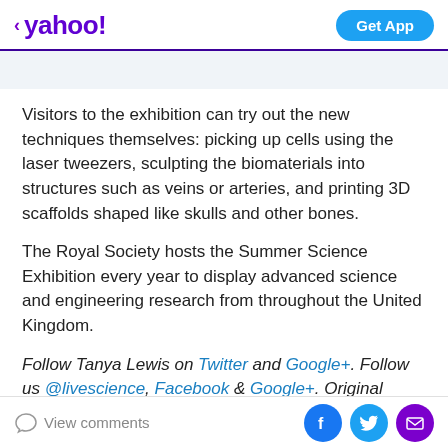< yahoo! | Get App
Visitors to the exhibition can try out the new techniques themselves: picking up cells using the laser tweezers, sculpting the biomaterials into structures such as veins or arteries, and printing 3D scaffolds shaped like skulls and other bones.
The Royal Society hosts the Summer Science Exhibition every year to display advanced science and engineering research from throughout the United Kingdom.
Follow Tanya Lewis on Twitter and Google+. Follow us @livescience, Facebook & Google+. Original article on
View comments